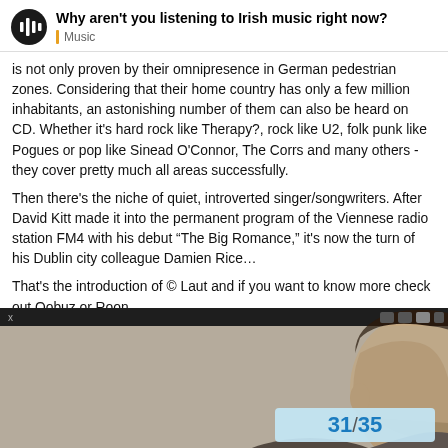Why aren't you listening to Irish music right now? Music
is not only proven by their omnipresence in German pedestrian zones. Considering that their home country has only a few million inhabitants, an astonishing number of them can also be heard on CD. Whether it's hard rock like Therapy?, rock like U2, folk punk like Pogues or pop like Sinead O'Connor, The Corrs and many others - they cover pretty much all areas successfully.
Then there's the niche of quiet, introverted singer/songwriters. After David Kitt made it into the permanent program of the Viennese radio station FM4 with his debut “The Big Romance,” it's now the turn of his Dublin city colleague Damien Rice…
That's the introduction of © Laut and if you want to know more check out Qobuz or Roon.
[Figure (photo): Close-up profile photo of a man with dark hair against a neutral background, with a dark toolbar at the top and a page counter showing 31/35 in the bottom right.]